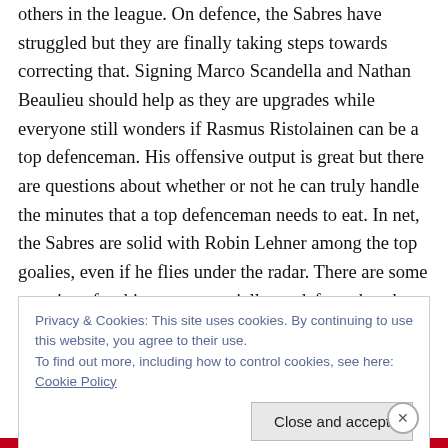others in the league. On defence, the Sabres have struggled but they are finally taking steps towards correcting that. Signing Marco Scandella and Nathan Beaulieu should help as they are upgrades while everyone still wonders if Rasmus Ristolainen can be a top defenceman. His offensive output is great but there are questions about whether or not he can truly handle the minutes that a top defenceman needs to eat. In net, the Sabres are solid with Robin Lehner among the top goalies, even if he flies under the radar. There are some questions for this team, especially on defence but the other aspects
Privacy & Cookies: This site uses cookies. By continuing to use this website, you agree to their use. To find out more, including how to control cookies, see here: Cookie Policy